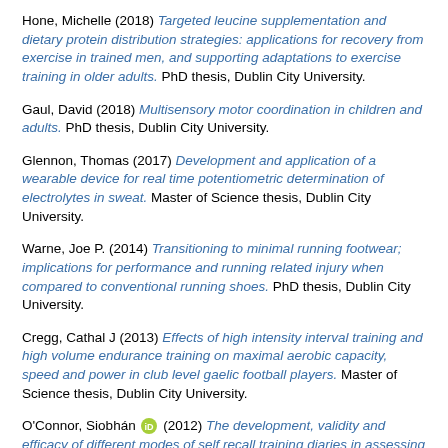Hone, Michelle (2018) Targeted leucine supplementation and dietary protein distribution strategies: applications for recovery from exercise in trained men, and supporting adaptations to exercise training in older adults. PhD thesis, Dublin City University.
Gaul, David (2018) Multisensory motor coordination in children and adults. PhD thesis, Dublin City University.
Glennon, Thomas (2017) Development and application of a wearable device for real time potentiometric determination of electrolytes in sweat. Master of Science thesis, Dublin City University.
Warne, Joe P. (2014) Transitioning to minimal running footwear; implications for performance and running related injury when compared to conventional running shoes. PhD thesis, Dublin City University.
Cregg, Cathal J (2013) Effects of high intensity interval training and high volume endurance training on maximal aerobic capacity, speed and power in club level gaelic football players. Master of Science thesis, Dublin City University.
O'Connor, Siobhán [ORCID] (2012) The development, validity and efficacy of different modes of self recall training diaries in assessing training load on Gaelic footballers. Master of Science thesis, Dublin City